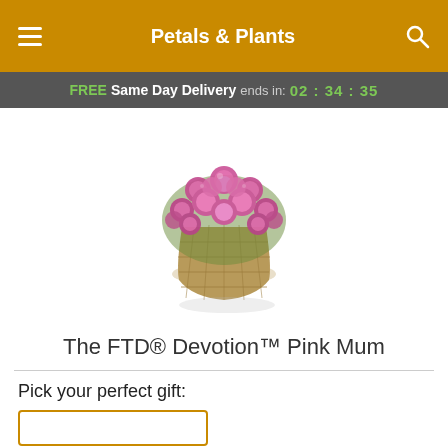Petals & Plants
FREE Same Day Delivery ends in: 02:34:35
[Figure (photo): Pink mum plant in a woven basket pot with clusters of pink flowers forming a dome shape.]
The FTD® Devotion™ Pink Mum
Pick your perfect gift: